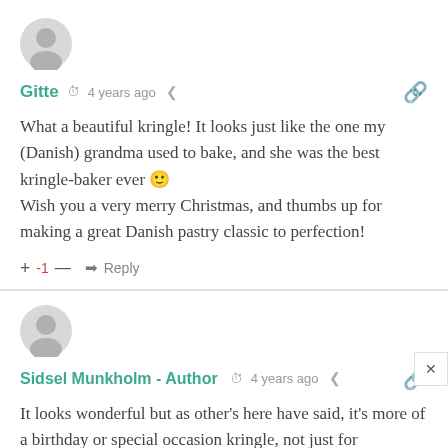[Figure (illustration): Generic user avatar circle icon, light gray]
Gitte  4 years ago
What a beautiful kringle! It looks just like the one my (Danish) grandma used to bake, and she was the best kringle-baker ever 🙂
Wish you a very merry Christmas, and thumbs up for making a great Danish pastry classic to perfection!
+ -1 — ➜ Reply
[Figure (illustration): Generic user avatar circle icon, light gray]
Sidsel Munkholm - Author  4 years ago
It looks wonderful but as other's here have said, it's more of a birthday or special occasion kringle, not just for